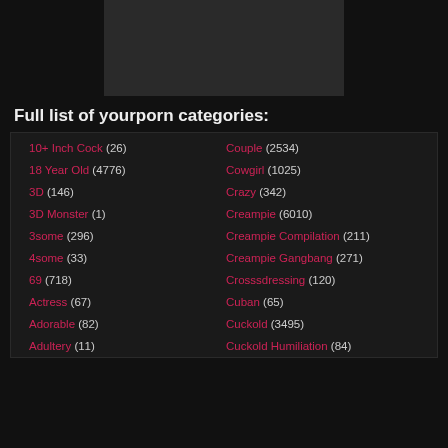[Figure (photo): Cropped adult content image at top of page]
Full list of yourporn categories:
10+ Inch Cock (26)
Couple (2534)
18 Year Old (4776)
Cowgirl (1025)
3D (146)
Crazy (342)
3D Monster (1)
Creampie (6010)
3some (296)
Creampie Compilation (211)
4some (33)
Creampie Gangbang (271)
69 (718)
Crosssdressing (120)
Actress (67)
Cuban (65)
Adorable (82)
Cuckold (3495)
Adultery (11)
Cuckold Humiliation (84)